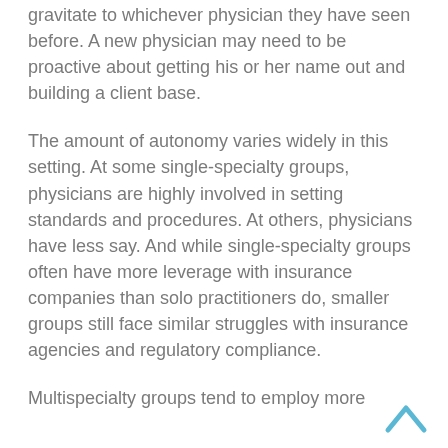gravitate to whichever physician they have seen before. A new physician may need to be proactive about getting his or her name out and building a client base.
The amount of autonomy varies widely in this setting. At some single-specialty groups, physicians are highly involved in setting standards and procedures. At others, physicians have less say. And while single-specialty groups often have more leverage with insurance companies than solo practitioners do, smaller groups still face similar struggles with insurance agencies and regulatory compliance.
Multispecialty groups tend to employ more